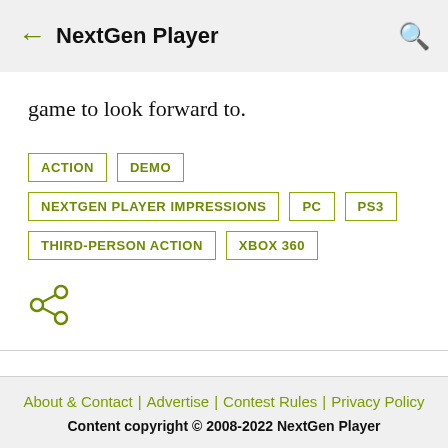NextGen Player
game to look forward to.
ACTION
DEMO
NEXTGEN PLAYER IMPRESSIONS
PC
PS3
THIRD-PERSON ACTION
XBOX 360
[Figure (other): Share icon (three connected circles)]
About & Contact | Advertise | Contest Rules | Privacy Policy
Content copyright © 2008-2022 NextGen Player